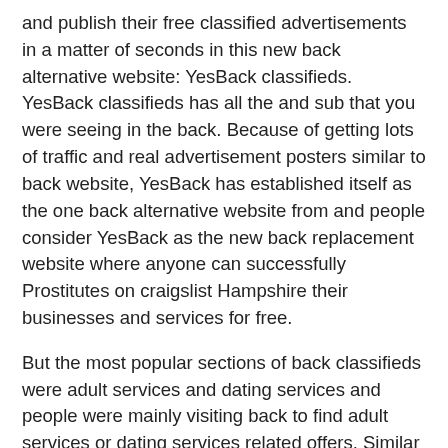and publish their free classified advertisements in a matter of seconds in this new back alternative website: YesBack classifieds. YesBack classifieds has all the and sub that you were seeing in the back. Because of getting lots of traffic and real advertisement posters similar to back website, YesBack has established itself as the one back alternative website from and people consider YesBack as the new back replacement website where anyone can successfully Prostitutes on craigslist Hampshire their businesses and services for free.
But the most popular sections of back classifieds were adult services and dating services and people were mainly visiting back to find adult services or dating services related offers. Similar to back classifieds, people are mainly using YesBack classifieds to find local dating services or adult services related advertisements. YesBack is allowing the back users to post different type of adult services such as female escorts advertisements, body rubsmale escorts,